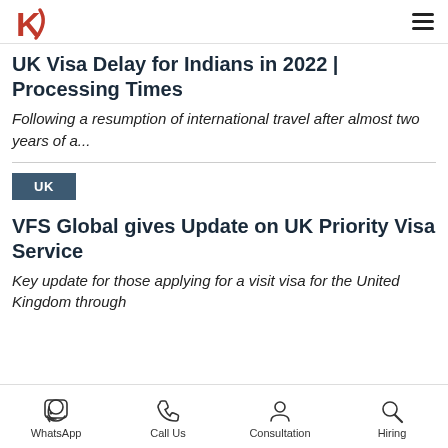K7 logo and navigation menu
UK Visa Delay for Indians in 2022 | Processing Times
Following a resumption of international travel after almost two years of a...
UK
VFS Global gives Update on UK Priority Visa Service
Key update for those applying for a visit visa for the United Kingdom through...
WhatsApp | Call Us | Consultation | Hiring